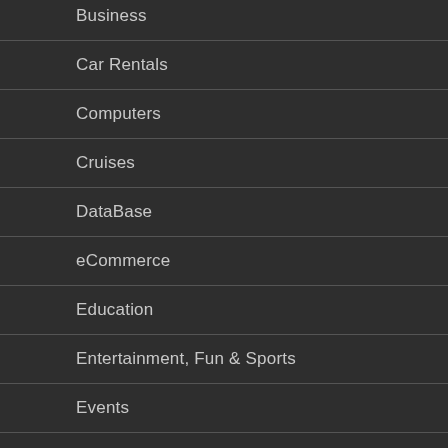Business
Car Rentals
Computers
Cruises
DataBase
eCommerce
Education
Entertainment, Fun & Sports
Events
Fashion
Finance
Food